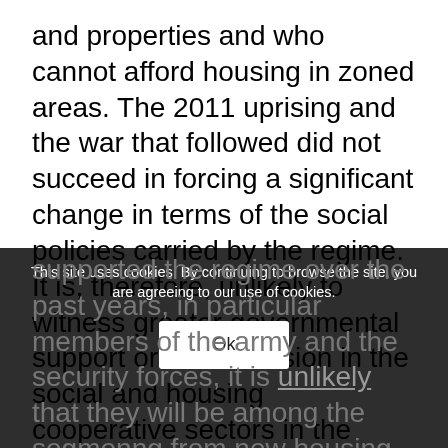and properties and who cannot afford housing in zoned areas. The 2011 uprising and the war that followed did not succeed in forcing a significant change in terms of the social policies carried by the regime. It is, therefore, unlikely to witness greater governmental support or an expansion in the social and housing cooperative sectors in the coming years. Indeed, the legislative surge over the last few years indicates a preference for private real estate investments and the search for profit in the sector. Hence, although large segments of people with limited incomes have politically supported the regime over the past years, in particular members of the army and the security forces, it is unlikely that they will be among the segments benefiting from new housing plans. Furthermore, as the regime
This site uses cookies. By continuing to browse the site, you are agreeing to our use of cookies.
Ok